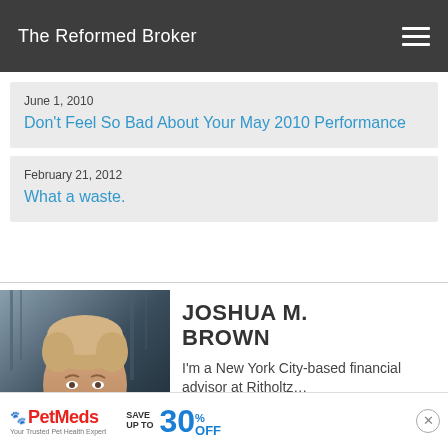The Reformed Broker
June 1, 2010
Don't Feel So Bad About Your May 2010 Performance
February 21, 2012
What a waste.
[Figure (photo): Headshot photo of Joshua M. Brown, a man with short light hair, looking upward, against a blurred urban background]
JOSHUA M. BROWN
I'm a New York City-based financial advisor at Ritholtz...
[Figure (other): PetMeds advertisement banner: SAVE UP TO 30% OFF]